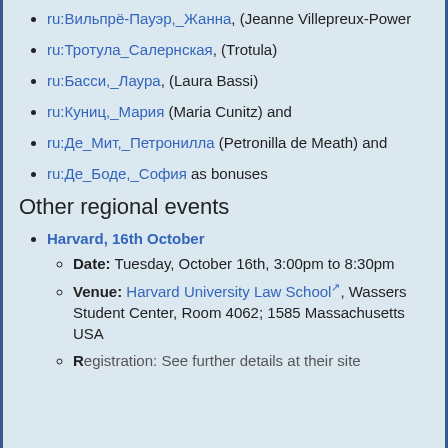ru:Вильпрё-Пауэр,_Жанна, (Jeanne Villepreux-Power
ru:Тротула_Салернская, (Trotula)
ru:Басси,_Лаура, (Laura Bassi)
ru:Куниц,_Мария (Maria Cunitz) and
ru:Де_Мит,_Петронилла (Petronilla de Meath) and
ru:Де_Боде,_София as bonuses
Other regional events
Harvard, 16th October
Date: Tuesday, October 16th, 3:00pm to 8:30pm
Venue: Harvard University Law School, Wassers Student Center, Room 4062; 1585 Massachusetts USA
Registration: See further details at their site